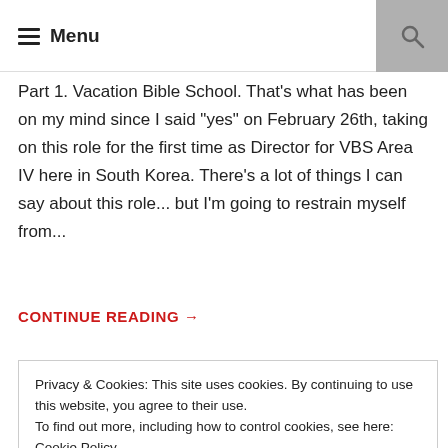Menu
Part 1. Vacation Bible School. That's what has been on my mind since I said "yes" on February 26th, taking on this role for the first time as Director for VBS Area IV here in South Korea. There's a lot of things I can say about this role... but I'm going to restrain myself from...
CONTINUE READING →
Privacy & Cookies: This site uses cookies. By continuing to use this website, you agree to their use.
To find out more, including how to control cookies, see here: Cookie Policy
Close and accept